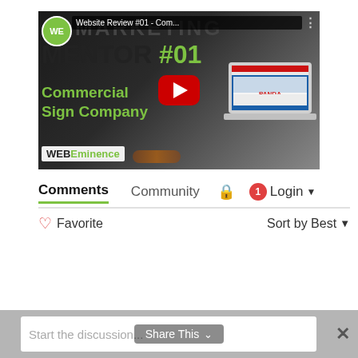[Figure (screenshot): YouTube video thumbnail for 'Website Review #01 - Commercial Sign Company' by WEBEminence Marketing Mentor series, showing large bold text 'MARKETING MENTOR #01' and 'Commercial Sign Company' in green, with a red YouTube play button in the center, a laptop showing a website on the right, and the WEBEminence logo at bottom left.]
Comments   Community   🔒   1   Login ▼
♡ Favorite                                             Sort by Best ▼
Start the discussion...
Share This ∨